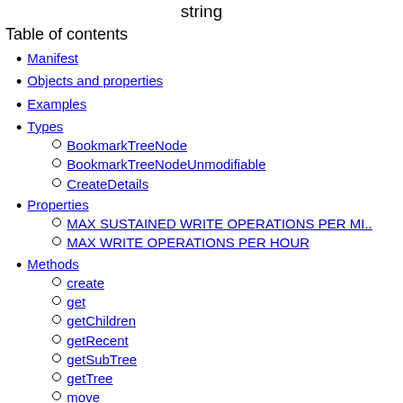string
Table of contents
Manifest
Objects and properties
Examples
Types
BookmarkTreeNode
BookmarkTreeNodeUnmodifiable
CreateDetails
Properties
MAX SUSTAINED WRITE OPERATIONS PER MI...
MAX WRITE OPERATIONS PER HOUR
Methods
create
get
getChildren
getRecent
getSubTree
getTree
move
remove
removeTree
search
update